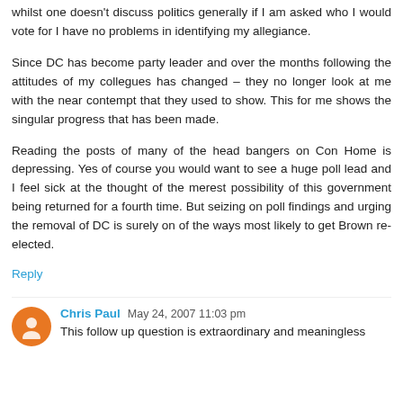whilst one doesn't discuss politics generally if I am asked who I would vote for I have no problems in identifying my allegiance.
Since DC has become party leader and over the months following the attitudes of my collegues has changed – they no longer look at me with the near contempt that they used to show. This for me shows the singular progress that has been made.
Reading the posts of many of the head bangers on Con Home is depressing. Yes of course you would want to see a huge poll lead and I feel sick at the thought of the merest possibility of this government being returned for a fourth time. But seizing on poll findings and urging the removal of DC is surely on of the ways most likely to get Brown re-elected.
Reply
Chris Paul  May 24, 2007 11:03 pm
This follow up question is extraordinary and meaningless